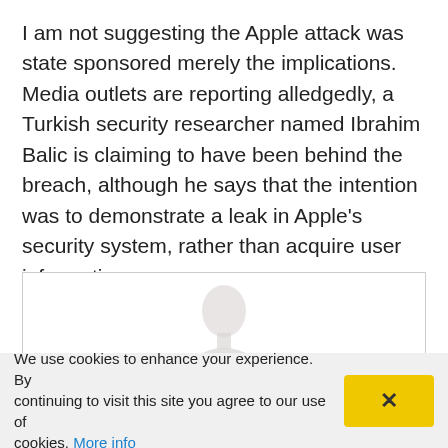I am not suggesting the Apple attack was state sponsored merely the implications. Media outlets are reporting alledgedly, a Turkish security researcher named Ibrahim Balic is claiming to have been behind the breach, although he says that the intention was to demonstrate a leak in Apple's security system, rather than acquire user information.
[Figure (photo): A partially visible photo or illustration inside a bordered box, showing what appears to be a faint silhouette or portrait of a person.]
We use cookies to enhance your experience. By continuing to visit this site you agree to our use of cookies. More info